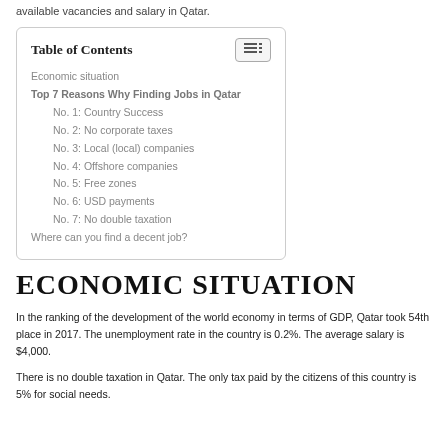available vacancies and salary in Qatar.
| Economic situation |
| Top 7 Reasons Why Finding Jobs in Qatar |
| No. 1: Country Success |
| No. 2: No corporate taxes |
| No. 3: Local (local) companies |
| No. 4: Offshore companies |
| No. 5: Free zones |
| No. 6: USD payments |
| No. 7: No double taxation |
| Where can you find a decent job? |
ECONOMIC SITUATION
In the ranking of the development of the world economy in terms of GDP, Qatar took 54th place in 2017. The unemployment rate in the country is 0.2%. The average salary is $4,000.
There is no double taxation in Qatar. The only tax paid by the citizens of this country is 5% for social needs.